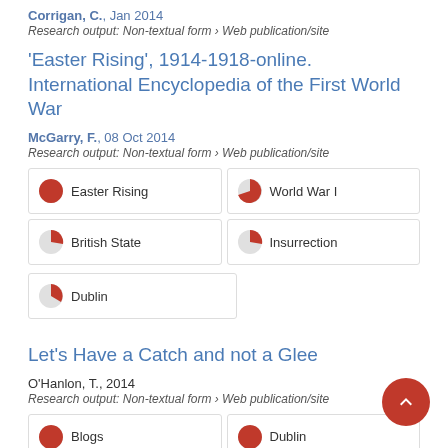Corrigan, C., Jan 2014
Research output: Non-textual form › Web publication/site
'Easter Rising', 1914-1918-online. International Encyclopedia of the First World War
McGarry, F., 08 Oct 2014
Research output: Non-textual form › Web publication/site
Easter Rising | World War I | British State | Insurrection | Dublin
Let's Have a Catch and not a Glee
O'Hanlon, T., 2014
Research output: Non-textual form › Web publication/site
Blogs | Dublin | Research Projects